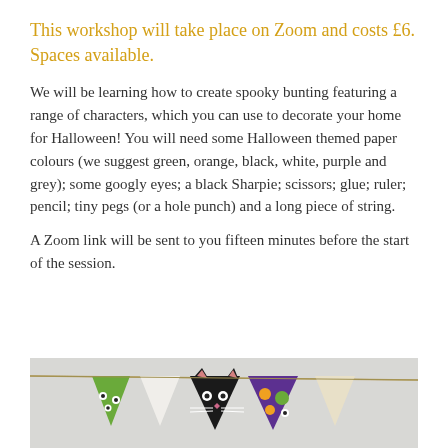This workshop will take place on Zoom and costs £6. Spaces available.
We will be learning how to create spooky bunting featuring a range of characters, which you can use to decorate your home for Halloween! You will need some Halloween themed paper colours (we suggest green, orange, black, white, purple and grey); some googly eyes; a black Sharpie; scissors; glue; ruler; pencil; tiny pegs (or a hole punch) and a long piece of string.
A Zoom link will be sent to you fifteen minutes before the start of the session.
[Figure (photo): Photo of Halloween bunting made from triangular paper flags featuring characters including a green monster and a black cat with googly eyes, in colors of green, black, white, orange, and purple.]